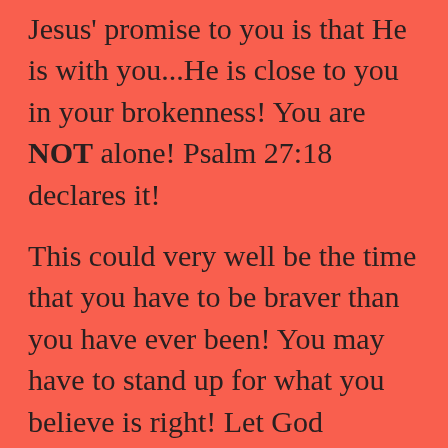Jesus' promise to you is that He is with you...He is close to you in your brokenness!  You are NOT alone!  Psalm 27:18 declares it!
This could very well be the time that you have to be braver than you have ever been! You may have to stand up for what you believe is right! Let God empower your backbone! Fight for righteousness, fight for what's in the best interest of your kids, speak the truth and don't cower in the face of